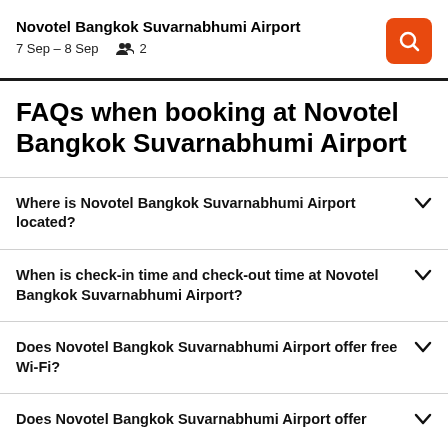Novotel Bangkok Suvarnabhumi Airport
7 Sep – 8 Sep   👥 2
FAQs when booking at Novotel Bangkok Suvarnabhumi Airport
Where is Novotel Bangkok Suvarnabhumi Airport located?
When is check-in time and check-out time at Novotel Bangkok Suvarnabhumi Airport?
Does Novotel Bangkok Suvarnabhumi Airport offer free Wi-Fi?
Does Novotel Bangkok Suvarnabhumi Airport offer